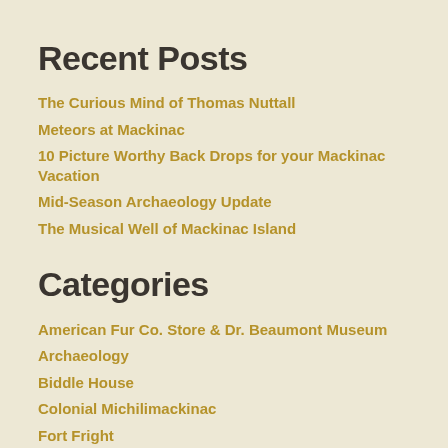Recent Posts
The Curious Mind of Thomas Nuttall
Meteors at Mackinac
10 Picture Worthy Back Drops for your Mackinac Vacation
Mid-Season Archaeology Update
The Musical Well of Mackinac Island
Categories
American Fur Co. Store & Dr. Beaumont Museum
Archaeology
Biddle House
Colonial Michilimackinac
Fort Fright
Fort Mackinac